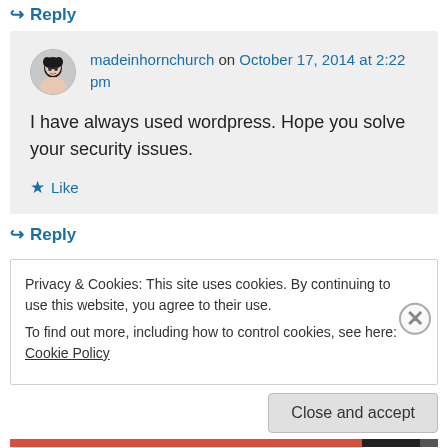↳ Reply
madeinhornchurch on October 17, 2014 at 2:22 pm
I have always used wordpress. Hope you solve your security issues.
★ Like
↳ Reply
Privacy & Cookies: This site uses cookies. By continuing to use this website, you agree to their use. To find out more, including how to control cookies, see here: Cookie Policy
Close and accept